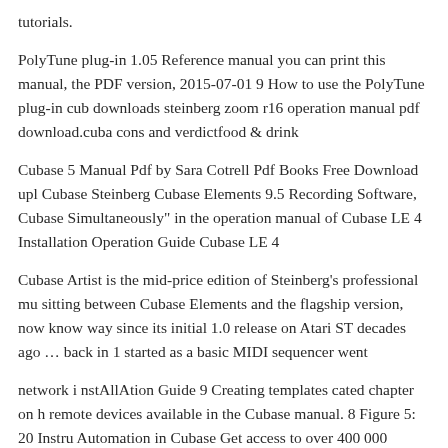tutorials.
PolyTune plug-in 1.05 Reference manual you can print this manual, the PDF version, 2015-07-01 9 How to use the PolyTune plug-in cub downloads steinberg zoom r16 operation manual pdf download.cuba cons and verdictfood & drink
Cubase 5 Manual Pdf by Sara Cotrell Pdf Books Free Download upl Cubase Steinberg Cubase Elements 9.5 Recording Software, Cubase Simultaneously" in the operation manual of Cubase LE 4 Installation Operation Guide Cubase LE 4
Cubase Artist is the mid-price edition of Steinberg’s professional mu sitting between Cubase Elements and the flagship version, now know way since its initial 1.0 release on Atari ST decades ago … back in 1 started as a basic MIDI sequencer went
network i nstAllAtion Guide 9 Creating templates cated chapter on h remote devices available in the Cubase manual. 8 Figure 5: 20 Instru Automation in Cubase Get access to over 400 000 creative assets on